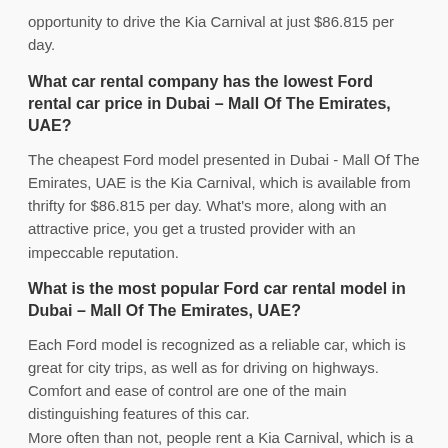opportunity to drive the Kia Carnival at just $86.815 per day.
What car rental company has the lowest Ford rental car price in Dubai – Mall Of The Emirates, UAE?
The cheapest Ford model presented in Dubai - Mall Of The Emirates, UAE is the Kia Carnival, which is available from thrifty for $86.815 per day. What's more, along with an attractive price, you get a trusted provider with an impeccable reputation.
What is the most popular Ford car rental model in Dubai – Mall Of The Emirates, UAE?
Each Ford model is recognized as a reliable car, which is great for city trips, as well as for driving on highways. Comfort and ease of control are one of the main distinguishing features of this car.
More often than not, people rent a Kia Carnival, which is a nice-looking and fairly roomy vehicle. It's accessible at a price of $86.815 per day in Dubai - Mall Of The Emirates, UAE.
What is the most popular supplier of Ford car rentals in